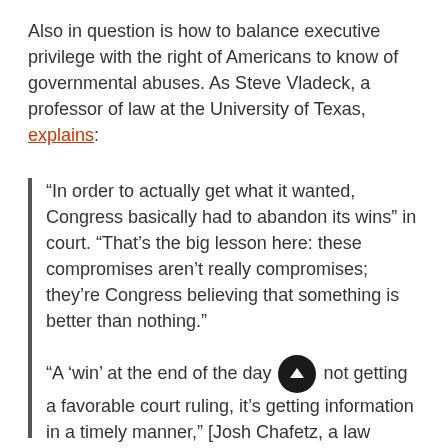Also in question is how to balance executive privilege with the right of Americans to know of governmental abuses. As Steve Vladeck, a professor of law at the University of Texas, explains:
“In order to actually get what it wanted, Congress basically had to abandon its wins” in court. “That’s the big lesson here: these compromises aren’t really compromises; they’re Congress believing that something is better than nothing.”
“A ‘win’ at the end of the day . . . is not getting a favorable court ruling, it’s getting information in a timely manner,” [Josh Chafetz, a law professor at Georgetown University, added].